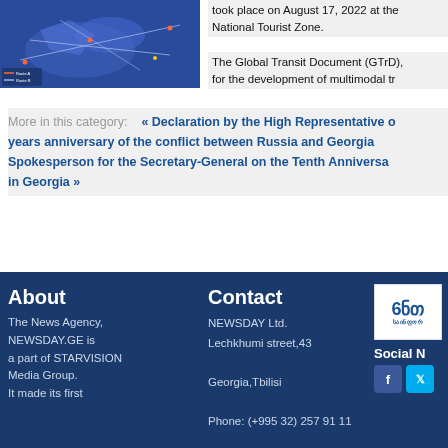[Figure (map): Map showing transit routes, blue background with route lines and markers]
took place on August 17, 2022 at the National Tourist Zone.
The Global Transit Document (GTrD), for the development of multimodal tr
More in this category:   « Declaration by the High Representative o years anniversary of the conflict between Russia and Georgia Spokesperson for the Secretary-General on the Tenth Anniversa in Georgia »
About
The News Agency, NEWSDAY.GE is a part of STARVISION Media Group. It made its first
Contact
NEWSDAY Ltd.
Lechkhumi street,43
Georgia,Tbilisi
Phone: (+995 32) 257 91 11
[Figure (logo): Georgian news logo with text in Georgian script]